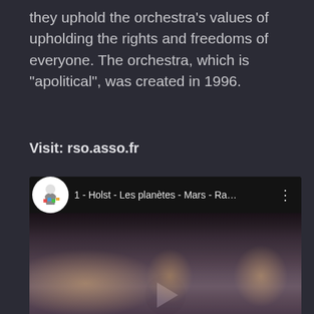they uphold the orchestra's values of upholding the rights and freedoms of everyone. The orchestra, which is "apolitical", was created in 1996.
Visit: rso.asso.fr
[Figure (screenshot): YouTube video thumbnail showing an orchestra performing, with title '1 - Holst - Les planètes - Mars - Ra…' and a play button overlay]